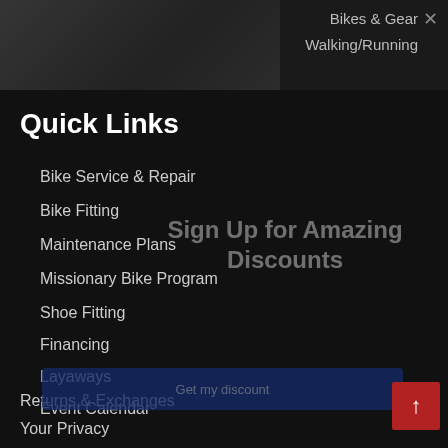Bikes & Gear
Walking/Running
[Figure (screenshot): Dark navigation screenshot showing a website page with Quick Links menu and a Sign Up for Amazing Discounts overlay popup]
Quick Links
Bike Service & Repair
Bike Fitting
Maintenance Plans
Missionary Bike Program
Shoe Fitting
Financing
Layaways
Event Calendar
Returns & Exchanges
Your Privacy
Sign Up for Amazing Discounts
Get my discount